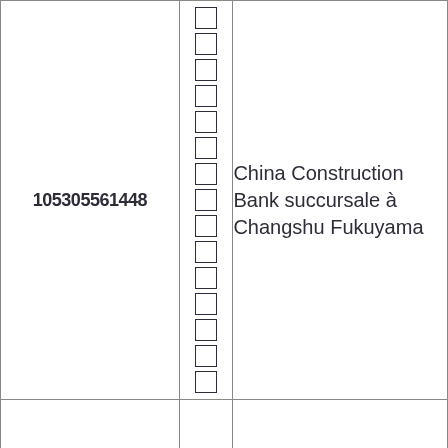| ID | Boxes | Name |
| --- | --- | --- |
| 105305561448 | □□□□□□□□□□□□□□□□□□ | China Construction Bank succursale à Changshu Fukuyama |
|  | □□□□□ |  |